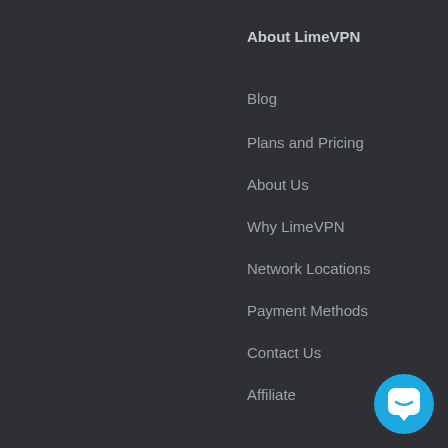About LimeVPN
Blog
Plans and Pricing
About Us
Why LimeVPN
Network Locations
Payment Methods
Contact Us
Affiliate
Legal
Terms of Use
Privacy Policy
Log Keeping Policy
DMCA
[Figure (illustration): Blue circular chat support button with white speech bubble icon]